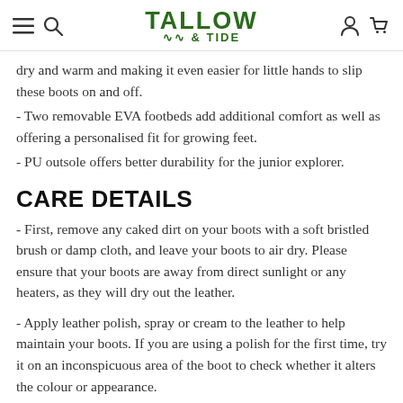Tallow & Tide (navigation header with menu, search, account, cart icons)
dry and warm and making it even easier for little hands to slip these boots on and off.
- Two removable EVA footbeds add additional comfort as well as offering a personalised fit for growing feet.
- PU outsole offers better durability for the junior explorer.
CARE DETAILS
- First, remove any caked dirt on your boots with a soft bristled brush or damp cloth, and leave your boots to air dry. Please ensure that your boots are away from direct sunlight or any heaters, as they will dry out the leather.
- Apply leather polish, spray or cream to the leather to help maintain your boots. If you are using a polish for the first time, try it on an inconspicuous area of the boot to check whether it alters the colour or appearance.